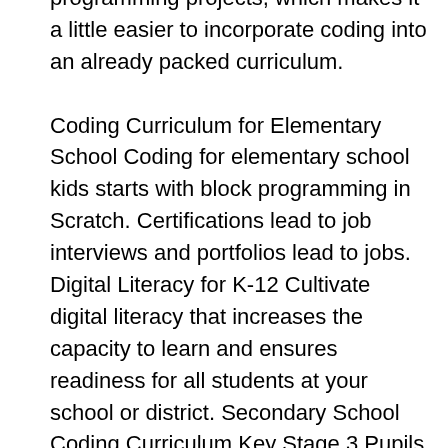programming projects, which makes it a little easier to incorporate coding into an already packed curriculum. Coding Curriculum for Elementary School Coding for elementary school kids starts with block programming in Scratch. Certifications lead to job interviews and portfolios lead to jobs. Digital Literacy for K-12 Cultivate digital literacy that increases the capacity to learn and ensures readiness for all students at your school or district. Secondary School Coding Curriculum Key Stage 3 Pupils at key stage 3 should be taught to: design, use and evaluate computational abstractions that model the … Mastery Coding leads to both. HIGH SCHOOL CODING CURRICULUM. We create career-ready coding courses authored by a Teacher of the Year award winner, helping your students develop computational thinking skills and preparing them to become certified in professional programming languages. Kodable teaches kids to code at home or school using fun interactive games while providing